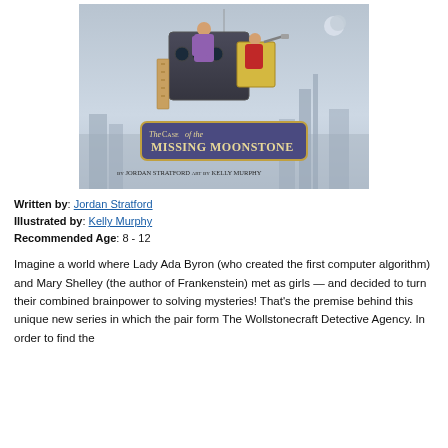[Figure (illustration): Book cover illustration for 'The Case of the Missing Moonstone' by Jordan Stratford, art by Kelly Murphy. Shows two girls in a flying contraption above a cityscape, with a decorative banner displaying the title and author/illustrator names.]
Written by: Jordan Stratford
Illustrated by: Kelly Murphy
Recommended Age: 8 - 12
Imagine a world where Lady Ada Byron (who created the first computer algorithm) and Mary Shelley (the author of Frankenstein) met as girls — and decided to turn their combined brainpower to solving mysteries! That's the premise behind this unique new series in which the pair form The Wollstonecraft Detective Agency. In order to find the